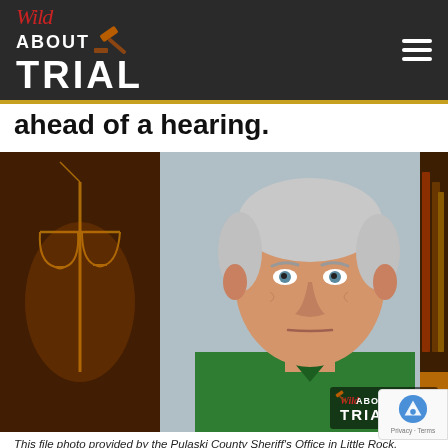Wild About Trial
ahead of a hearing.
[Figure (photo): Composite image: mugshot of Joseph Boeckmann wearing a green shirt, flanked by dark background images of scales of justice (left) and law books (right). Wild About Trial logo watermark in lower right corner.]
This file photo provided by the Pulaski County Sheriff's Office in Little Rock, Ark., shows Joseph Boeckmann, who has pleaded guilty in federal court to accusations that he gave lighter sentences to defendants in exchange for nude photos and sexual acts. Court filings ahead of his sentencing Wednesday, Feb. 21, 2018, show the judge was investigated two decades ago for similar crimes.